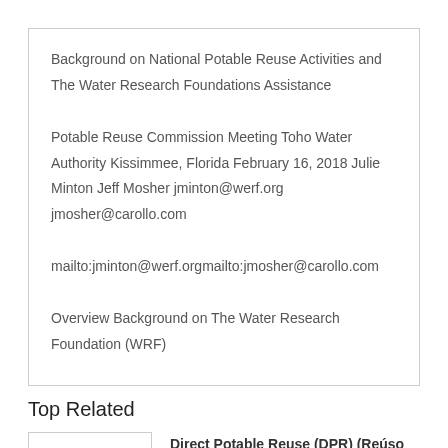Background on National Potable Reuse Activities and The Water Research Foundations Assistance Potable Reuse Commission Meeting Toho Water Authority Kissimmee, Florida February 16, 2018 Julie Minton Jeff Mosher jminton@werf.org jmosher@carollo.com mailto:jminton@werf.orgmailto:jmosher@carollo.com Overview Background on The Water Research Foundation (WRF) Overview of Potable Reuse Both Indirect Potable Reuse and Direct Potable Reuse Water Quality, Technologies, and Implementation
Top Related
Direct Potable Reuse (DPR) (Reúso Dire...
Documents